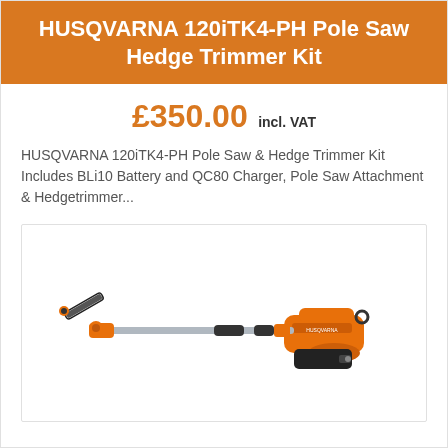HUSQVARNA 120iTK4-PH Pole Saw Hedge Trimmer Kit
£350.00 incl. VAT
HUSQVARNA 120iTK4-PH Pole Saw & Hedge Trimmer Kit Includes BLi10 Battery and QC80 Charger, Pole Saw Attachment & Hedgetrimmer...
[Figure (photo): Husqvarna 120iTK4-PH pole saw with orange and grey body, long extending pole with small chainsaw attachment at the end]